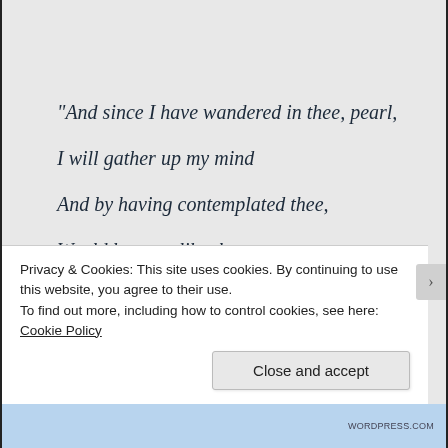“And since I have wandered in thee, pearl,

I will gather up my mind

And by having contemplated thee,

Would become like thee,

In that thou art all gathered into thyself
Privacy & Cookies: This site uses cookies. By continuing to use this website, you agree to their use.
To find out more, including how to control cookies, see here:
Cookie Policy
Close and accept